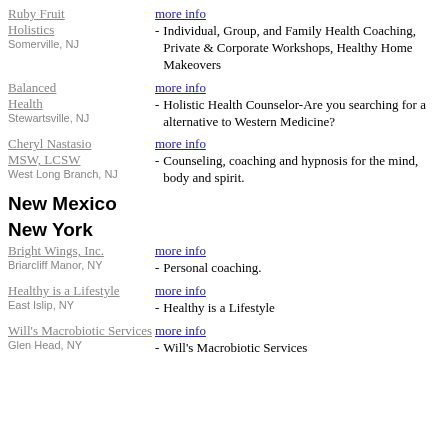Ruby Fruit Holistics
Somerville, NJ
more info
- Individual, Group, and Family Health Coaching, Private & Corporate Workshops, Healthy Home Makeovers
Balanced Health
Stewartsville, NJ
more info
- Holistic Health Counselor-Are you searching for a alternative to Western Medicine?
Cheryl Nastasio MSW, LCSW
West Long Branch, NJ
more info
- Counseling, coaching and hypnosis for the mind, body and spirit.
New Mexico
New York
Bright Wings, Inc.
Briarcliff Manor, NY
more info
Personal coaching.
Healthy is a Lifestyle
East Islip, NY
more info
Healthy is a Lifestyle
Will's Macrobiotic Services
Glen Head, NY
more info
Will's Macrobiotic Services